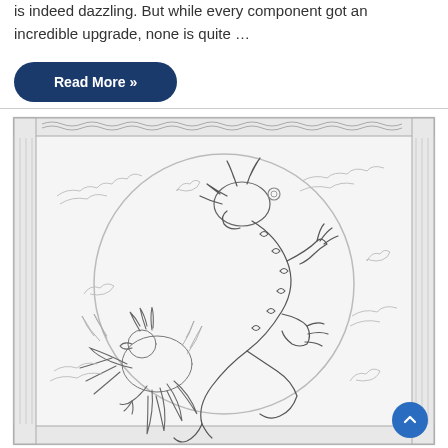is indeed dazzling. But while every component got an incredible upgrade, none is quite …
Read More »
[Figure (illustration): A detailed pencil sketch illustration in a decorative framed border showing a Chinese dragon and phoenix intertwined in a circular composition, surrounded by clouds and swirling motifs. The style is traditional East Asian decorative art rendered as an uncolored line drawing.]